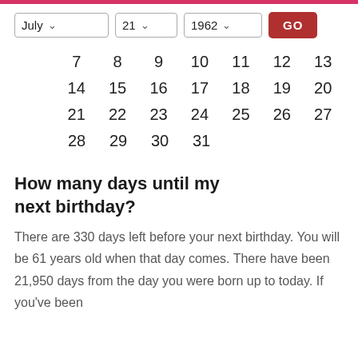[Figure (screenshot): Date selection UI with dropdowns for July, 21, 1962 and a red GO button]
[Figure (other): Calendar grid showing dates 7-31 for July 1962]
How many days until my next birthday?
There are 330 days left before your next birthday. You will be 61 years old when that day comes. There have been 21,950 days from the day you were born up to today. If you've been